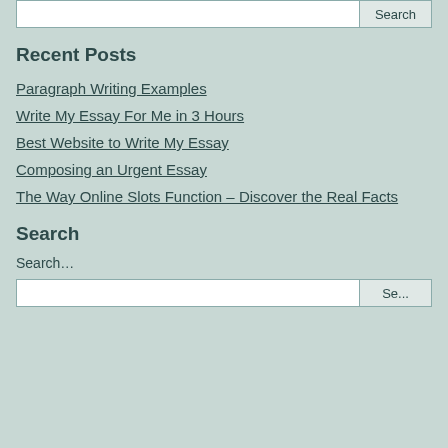Recent Posts
Paragraph Writing Examples
Write My Essay For Me in 3 Hours
Best Website to Write My Essay
Composing an Urgent Essay
The Way Online Slots Function – Discover the Real Facts
Search
Search…